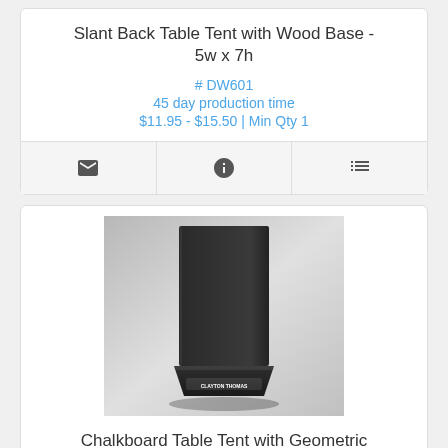Slant Back Table Tent with Wood Base - 5w x 7h
# DW601
45 day production time
$11.95 - $15.50 | Min Qty 1
[Figure (infographic): Icon bar with three icons: envelope (email), info circle, and list/menu icon]
[Figure (photo): Chalkboard table tent with geometric base, black finish, showing a tall rectangular panel mounted on a geometric black base with Clayton Thomas branding]
Chalkboard Table Tent with Geometric Base - 5w x 7h
# DWGB5016